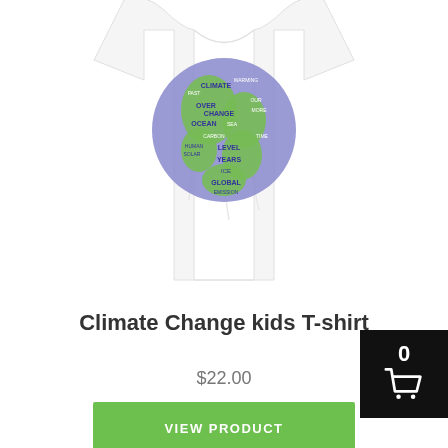[Figure (photo): White kids T-shirt with a globe/earth design made of climate change related words in blue and green text, including words like CLIMATE, OVER CHANGE, OCEAN, LEVEL, YEARS, ICE, GLOBAL, HUMAN, SOLAR, CARBON, etc.]
Climate Change kids T-shirt
$22.00
VIEW PRODUCT